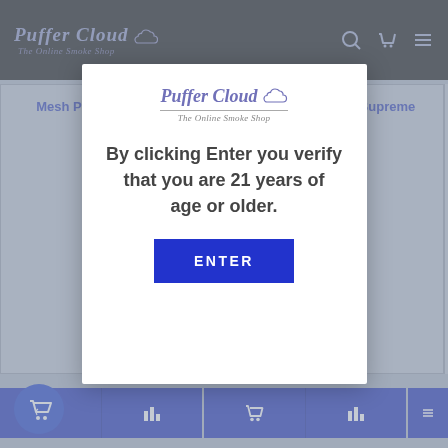[Figure (screenshot): Puffer Cloud online smoke shop website screenshot with age verification modal overlay. Nav bar shows Puffer Cloud logo with cloud icon and tagline 'The Online Smoke Shop' on dark background. Search, cart, and hamburger menu icons visible. Behind modal: product cards showing 'Mesh Pipe Screens – 25 Pack' priced at $6.50 and 'RAW – King Size Supreme (Pack)'. Blue add-to-cart and wishlist buttons at bottom. Floating blue cart button in lower left corner. Center modal is white box with Puffer Cloud logo, subtitle 'The Online Smoke Shop', text 'By clicking Enter you verify that you are 21 years of age or older.' and blue ENTER button.]